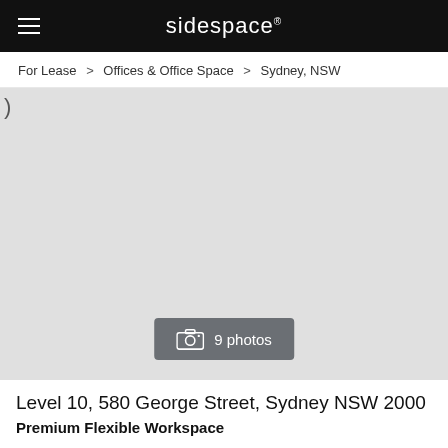sidespace®
For Lease > Offices & Office Space > Sydney, NSW
[Figure (photo): Large grey placeholder image area for property listing photos with a ')' character visible at top left and a '9 photos' camera button overlay at bottom center]
Level 10, 580 George Street, Sydney NSW 2000
Premium Flexible Workspace